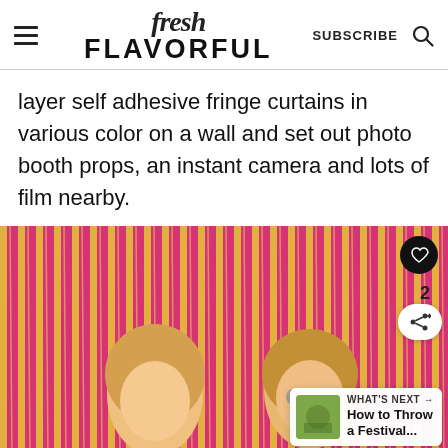fresh FLAVORFUL — SUBSCRIBE
layer self adhesive fringe curtains in various color on a wall and set out photo booth props, an instant camera and lots of film nearby.
[Figure (photo): Two young women standing in front of colorful pink and gold metallic fringe curtains. Overlay UI shows a heart button, share count of 2, share button, and a 'What's Next' card reading 'How to Throw a Festival...']